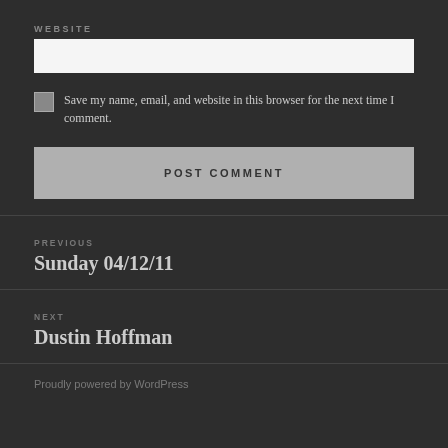WEBSITE
Save my name, email, and website in this browser for the next time I comment.
POST COMMENT
PREVIOUS
Sunday 04/12/11
NEXT
Dustin Hoffman
Proudly powered by WordPress